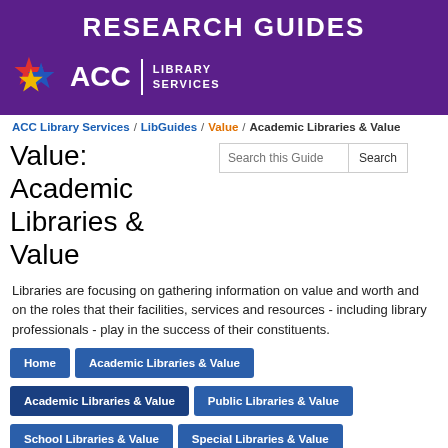RESEARCH GUIDES
[Figure (logo): ACC Library Services logo with star icon and white text on purple background]
ACC Library Services / LibGuides / Value / Academic Libraries & Value
Value: Academic Libraries & Value
Libraries are focusing on gathering information on value and worth and on the roles that their facilities, services and resources - including library professionals - play in the success of their constituents.
Home
Academic Libraries & Value
Academic Libraries & Value
Public Libraries & Value
School Libraries & Value
Special Libraries & Value
The Expert
General Value Content
The Expert in the Academic Library